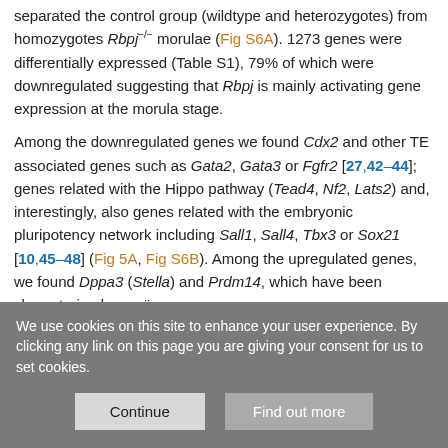separated the control group (wildtype and heterozygotes) from homozygotes Rbpj−/− morulae (Fig S6A). 1273 genes were differentially expressed (Table S1), 79% of which were downregulated suggesting that Rbpj is mainly activating gene expression at the morula stage.
Among the downregulated genes we found Cdx2 and other TE associated genes such as Gata2, Gata3 or Fgfr2 [27,42–44]; genes related with the Hippo pathway (Tead4, Nf2, Lats2) and, interestingly, also genes related with the embryonic pluripotency network including Sall1, Sall4, Tbx3 or Sox21 [10,45–48] (Fig 5A, Fig S6B). Among the upregulated genes, we found Dppa3 (Stella) and Prdm14, which have been characterised as naïve
We use cookies on this site to enhance your user experience. By clicking any link on this page you are giving your consent for us to set cookies.